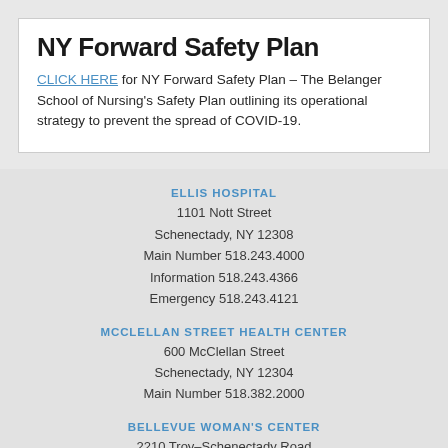NY Forward Safety Plan
CLICK HERE for NY Forward Safety Plan – The Belanger School of Nursing's Safety Plan outlining its operational strategy to prevent the spread of COVID-19.
ELLIS HOSPITAL
1101 Nott Street
Schenectady, NY 12308
Main Number 518.243.4000
Information 518.243.4366
Emergency 518.243.4121
MCCLELLAN STREET HEALTH CENTER
600 McClellan Street
Schenectady, NY 12304
Main Number 518.382.2000
BELLEVUE WOMAN'S CENTER
2210 Troy-Schenectady Road
Niskayuna, NY 12309